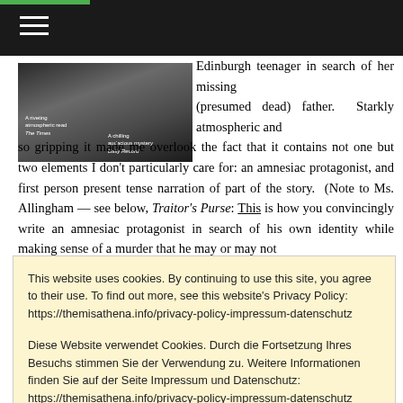Navigation bar with hamburger menu
[Figure (photo): Book cover image showing a landscape scene with text including 'A riveting atmospheric read - The Times' and 'A chilling audacious mystery - Daily Record']
Edinburgh teenager in search of her missing (presumed dead) father. Starkly atmospheric and so gripping it made me overlook the fact that it contains not one but two elements I don't particularly care for: an amnesiac protagonist, and first person present tense narration of part of the story. (Note to Ms. Allingham — see below, Traitor's Purse: This is how you convincingly write an amnesiac protagonist in search of his own identity while making sense of a murder that he may or may not
This website uses cookies. By continuing to use this site, you agree to their use. To find out more, see this website's Privacy Policy: https://themisathena.info/privacy-policy-impressum-datenschutz
Diese Website verwendet Cookies. Durch die Fortsetzung Ihres Besuchs stimmen Sie der Verwendung zu. Weitere Informationen finden Sie auf der Seite Impressum und Datenschutz: https://themisathena.info/privacy-policy-impressum-datenschutz Privacy & Cookie Policy
Close and accept
unease to full-blown terror. I don't know how often I will actually